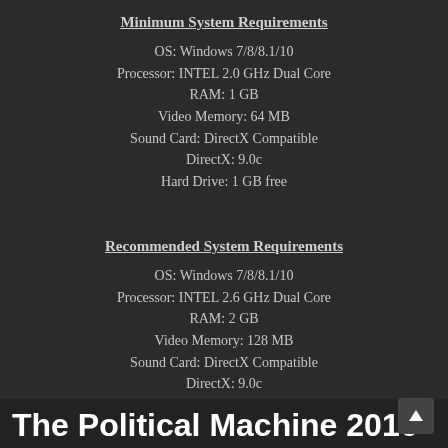Minimum System Requirements
OS: Windows 7/8/8.1/10
Processor: INTEL 2.0 GHz Dual Core
RAM: 1 GB
Video Memory: 64 MB
Sound Card: DirectX Compatible
DirectX: 9.0c
Hard Drive: 1 GB free
Recommended System Requirements
OS: Windows 7/8/8.1/10
Processor: INTEL 2.6 GHz Dual Core
RAM: 2 GB
Video Memory: 128 MB
Sound Card: DirectX Compatible
DirectX: 9.0c
Hard Drive: 1 GB free
The Political Machine 2016